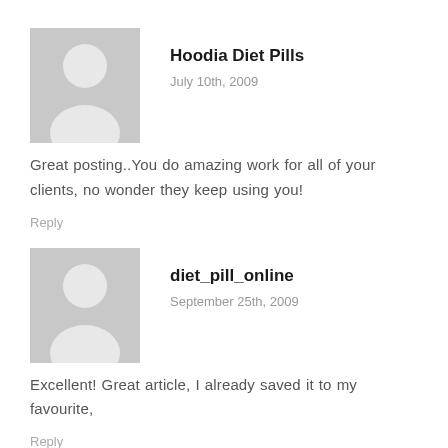[Figure (illustration): Gray avatar placeholder image showing silhouette of a person]
Hoodia Diet Pills
July 10th, 2009
Great posting..You do amazing work for all of your clients, no wonder they keep using you!
Reply
[Figure (illustration): Gray avatar placeholder image showing silhouette of a person]
diet_pill_online
September 25th, 2009
Excellent! Great article, I already saved it to my favourite,
Reply